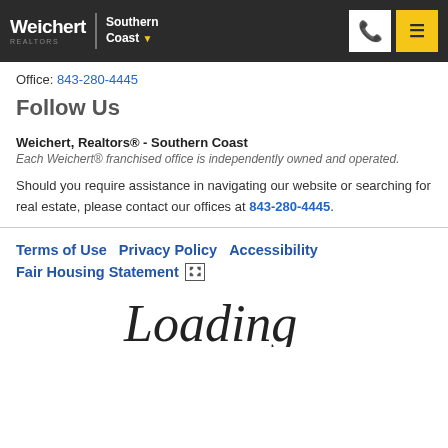[Figure (logo): Weichert Realtors Southern Coast logo with navigation header including phone and menu buttons]
Office: 843-280-4445
Follow Us
Weichert, Realtors® - Southern Coast
Each Weichert® franchised office is independently owned and operated.
Should you require assistance in navigating our website or searching for real estate, please contact our offices at 843-280-4445.
Terms of Use  Privacy Policy  Accessibility  Fair Housing Statement
[Figure (other): Loading script text in cursive font showing partial word 'Loading']